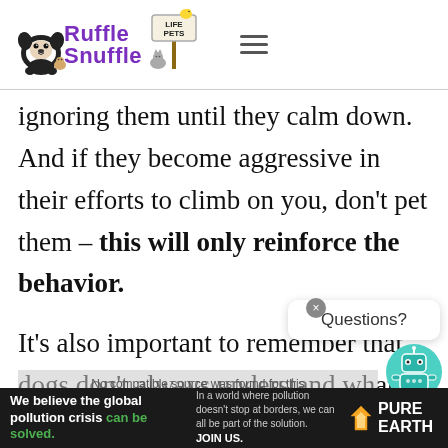[Figure (logo): Ruffle Snuffle Life Pets logo with French bulldog and pet animals illustration, hamburger menu icon]
ignoring them until they calm down. And if they become aggressive in their efforts to climb on you, don't pet them – this will only reinforce the behavior.

It's also important to remember that dogs don't always understand what's appropriate behavior and what isn't... even though it may seem rude to us,
[Figure (screenshot): Chat widget with close button (x) and 'Questions?' label, plus a robot mascot icon, and a video overlay saying 'No compatible source was found for this']
[Figure (infographic): Advertisement bar: 'We believe the global pollution crisis can be solved.' with Pure Earth logo and text about world pollution]